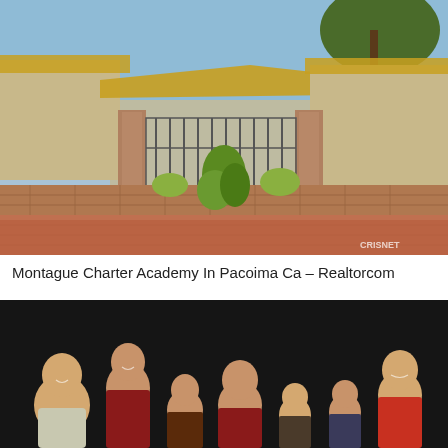[Figure (photo): Exterior photo of a building with yellow-trimmed roof, iron gate, brick wall, and landscaping with green plants. Watermark 'CRISNET' in bottom right corner.]
Montague Charter Academy In Pacoima Ca – Realtorcom
[Figure (photo): Group photo of adults and children posing in front of a black backdrop.]